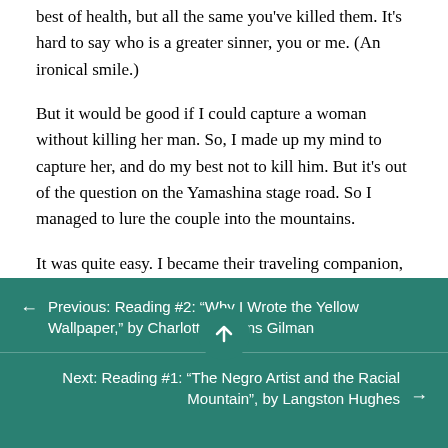best of health, but all the same you've killed them. It's hard to say who is a greater sinner, you or me. (An ironical smile.)
But it would be good if I could capture a woman without killing her man. So, I made up my mind to capture her, and do my best not to kill him. But it's out of the question on the Yamashina stage road. So I managed to lure the couple into the mountains.
It was quite easy. I became their traveling companion, and I told them there was an old
Previous: Reading #2: “Why I Wrote the Yellow Wallpaper,” by Charlotte Perkins Gilman
Next: Reading #1: “The Negro Artist and the Racial Mountain”, by Langston Hughes